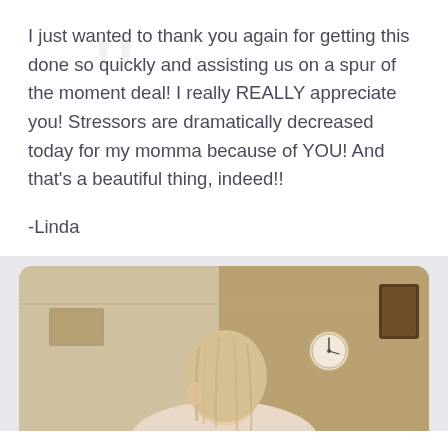I just wanted to thank you again for getting this done so quickly and assisting us on a spur of the moment deal! I really REALLY appreciate you! Stressors are dramatically decreased today for my momma because of YOU! And that’s a beautiful thing, indeed!!
-Linda
[Figure (photo): A blonde woman photographed from behind/side in what appears to be an office or medical setting with beige walls, a round clock on the wall, and a dark-framed picture on the right side.]